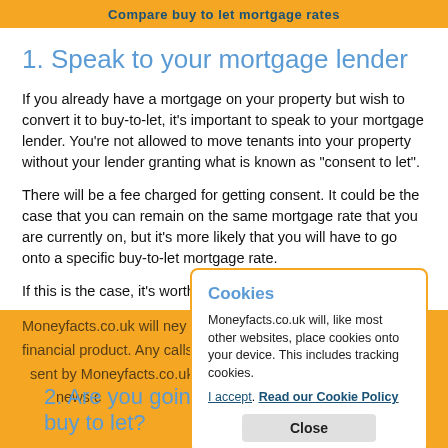Compare buy to let mortgage rates
1. Speak to your mortgage lender
If you already have a mortgage on your property but wish to convert it to buy-to-let, it's important to speak to your mortgage lender. You're not allowed to move tenants into your property without your lender granting what is known as "consent to let".
There will be a fee charged for getting consent. It could be the case that you can remain on the same mortgage rate that you are currently on, but it's more likely that you will have to go onto a specific buy-to-let mortgage rate.
If this is the case, it's worth...
Moneyfacts.co.uk will ne... financial product. Any calls... sent by Moneyfacts.co.uk... news.c...
2. Are you going to m... your buy to let?
Cookies
Moneyfacts.co.uk will, like most other websites, place cookies onto your device. This includes tracking cookies.
I accept. Read our Cookie Policy
Close